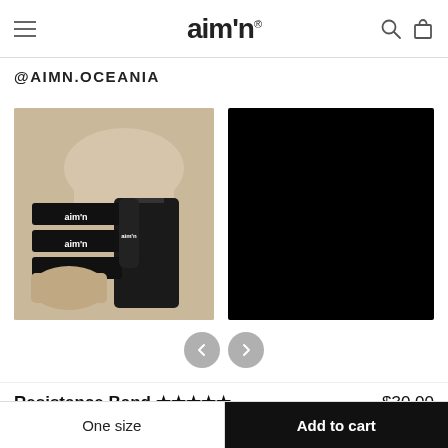aimn® [logo] with hamburger menu, search icon, and bag icon
@AIMN.OCEANIA
[Figure (photo): Flatlay of beige/nude athletic wear set (top, sports bra, leggings) with black resistance bands branded 'aimn' and a black water bottle, on a light grey surface]
[Figure (photo): Solid black image - second carousel slide]
Resistance Band ★★★★★ $30.00
One size
Add to cart